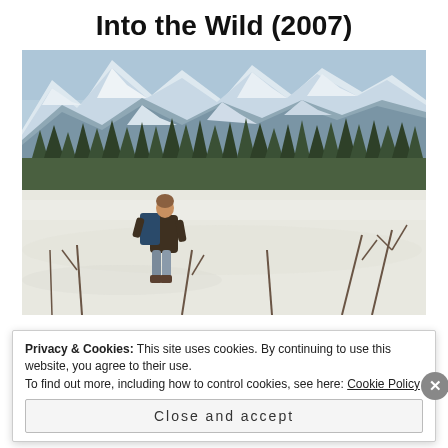Into the Wild (2007)
[Figure (photo): A person with a backpack hiking through a snowy Alaskan wilderness landscape with snow-capped mountains and evergreen trees in the background]
Privacy & Cookies: This site uses cookies. By continuing to use this website, you agree to their use. To find out more, including how to control cookies, see here: Cookie Policy
Close and accept